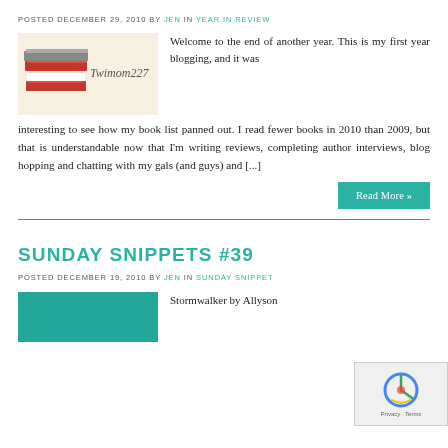POSTED DECEMBER 29, 2010 BY JEN IN YEAR IN REVIEW
[Figure (illustration): Blog logo image showing stacked books and handwritten text 'Twimom227' on a cream background]
Welcome to the end of another year. This is my first year blogging, and it was interesting to see how my book list panned out. I read fewer books in 2010 than 2009, but that is understandable now that I'm writing reviews, completing author interviews, blog hopping and chatting with my gals (and guys) and [...]
Read More »
SUNDAY SNIPPETS #39
POSTED DECEMBER 19, 2010 BY JEN IN SUNDAY SNIPPET
[Figure (illustration): Partial image with teal/blue background, partially visible]
Stormwalker by Allyson